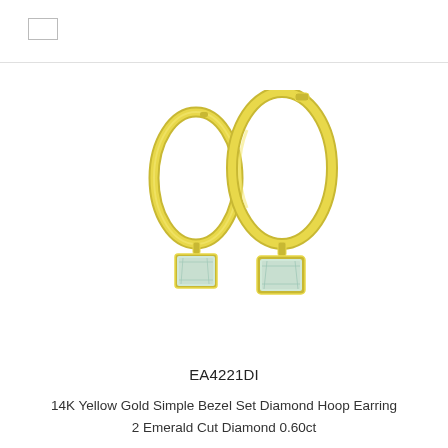[Figure (photo): Two 14K yellow gold hoop earrings with bezel-set emerald cut diamond pendants hanging from the bottom of each hoop. The hoops are circular with a gold finish and the dangling gems are light blue/clear emerald-cut stones set in yellow gold bezels.]
EA4221DI
14K Yellow Gold Simple Bezel Set Diamond Hoop Earring
2 Emerald Cut Diamond 0.60ct